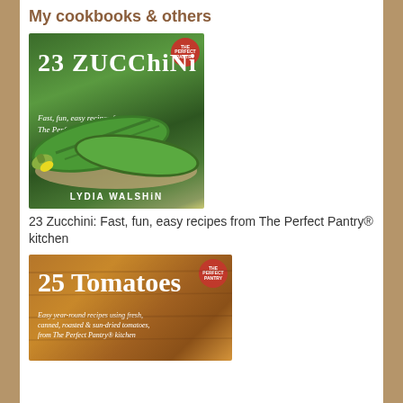My cookbooks & others
[Figure (photo): Book cover: 23 Zucchini: Fast, fun, easy recipes from The Perfect Pantry® kitchen by Lydia Walshin. Cover shows green zucchini on a wooden plate with white title text.]
23 Zucchini: Fast, fun, easy recipes from The Perfect Pantry® kitchen
[Figure (photo): Book cover: 25 Tomatoes: Easy year-round recipes using fresh, canned, roasted & sun-dried tomatoes, from The Perfect Pantry® kitchen. Cover has warm brown background with white title text.]